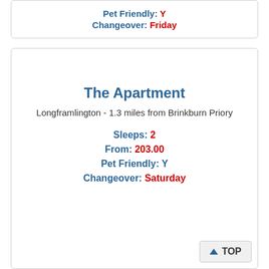Pet Friendly: Y
Changeover: Friday
The Apartment
Longframlington - 1.3 miles from Brinkburn Priory
Sleeps: 2
From: 203.00
Pet Friendly: Y
Changeover: Saturday